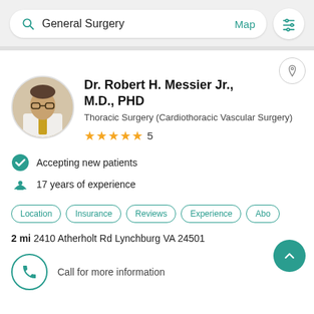General Surgery  Map
[Figure (photo): Circular profile photo of Dr. Robert H. Messier Jr., a man in a white coat with a yellow tie]
Dr. Robert H. Messier Jr., M.D., PHD
Thoracic Surgery (Cardiothoracic Vascular Surgery)
★★★★★  5
Accepting new patients
17 years of experience
Location  Insurance  Reviews  Experience  Abo
2 mi  2410 Atherholt Rd Lynchburg VA 24501
Call for more information